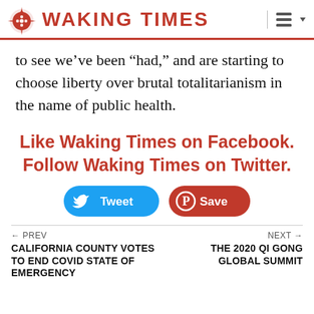WAKING TIMES
to see we’ve been “had,” and are starting to choose liberty over brutal totalitarianism in the name of public health.
Like Waking Times on Facebook. Follow Waking Times on Twitter.
[Figure (other): Tweet and Save (Pinterest) social sharing buttons]
← PREV | CALIFORNIA COUNTY VOTES TO END COVID STATE OF EMERGENCY || NEXT → | THE 2020 QI GONG GLOBAL SUMMIT